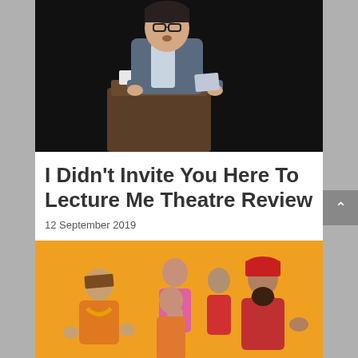[Figure (photo): A person in a blue blazer standing at a wooden podium with a book on it, speaking, against a dark background.]
I Didn't Invite You Here To Lecture Me Theatre Review
12 September 2019
[Figure (photo): Group of five performers posing against a bright orange/yellow background, wearing orange, red, and pink outfits including wide-brimmed hats.]